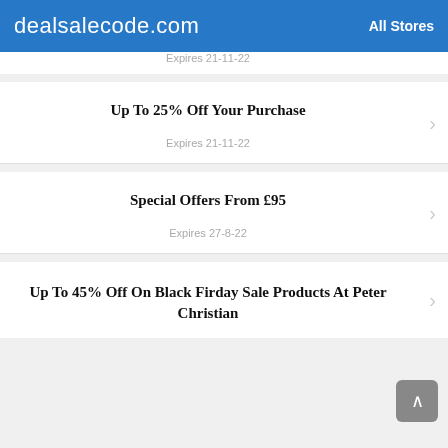dealsalecode.com | All Stores
Expires 21-11-22
Up To 25% Off Your Purchase
Expires 21-11-22
Special Offers From £95
Expires 27-8-22
Up To 45% Off On Black Firday Sale Products At Peter Christian